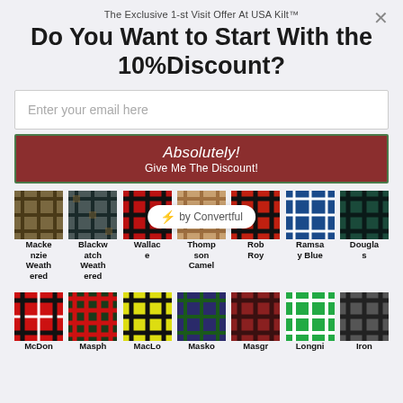The Exclusive 1-st Visit Offer At USA Kilt™
Do You Want to Start With the 10%Discount?
Enter your email here
Absolutely!
Give Me The Discount!
[Figure (illustration): Grid of tartan plaid fabric swatches with names: Mackenzie Weathered, Blackwatch Weathered, Wallace, Thompson Camel, Rob Roy, Ramsay Blue, Douglas]
[Figure (illustration): Badge: ⚡ by Convertful]
[Figure (illustration): Second row of tartan plaid fabric swatches with partial names: McDon, Masph, MacLo, Masko, Masgr, Longni, Iron]